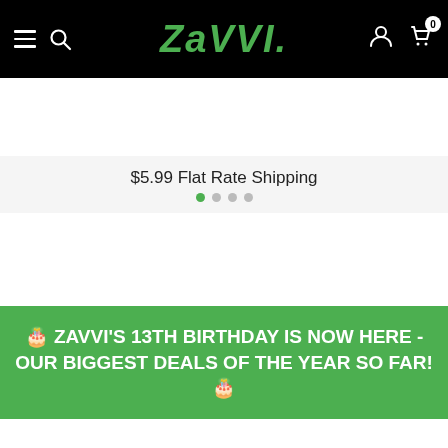ZAVVI. navigation bar with hamburger menu, search, logo, account, and cart (0 items)
$5.99 Flat Rate Shipping
🎂 ZAVVI'S 13TH BIRTHDAY IS NOW HERE - OUR BIGGEST DEALS OF THE YEAR SO FAR! 🎂
Back to previous page » Home » NFL Kansas City Chiefs 7" Action Figure -
[Figure (photo): Product image area showing partial 'Image' placeholder text in a bordered white box]